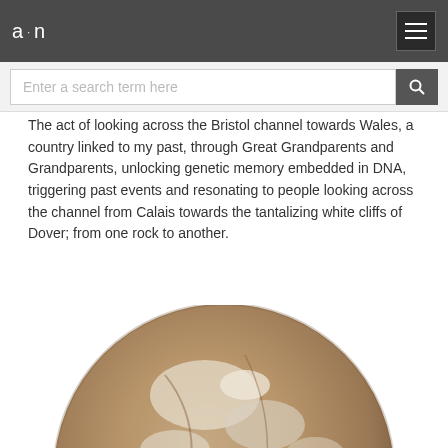a·n (logo) | menu button
Enter a search term here
The act of looking across the Bristol channel towards Wales, a country linked to my past, through Great Grandparents and Grandparents, unlocking genetic memory embedded in DNA, triggering past events and resonating to people looking across the channel from Calais towards the tantalizing white cliffs of Dover; from one rock to another.
[Figure (photo): A circular stone or rock object, brownish-grey in colour with white mineral deposits or lichen on its surface, photographed from above on a white background. The image is partially cropped at the bottom of the page.]